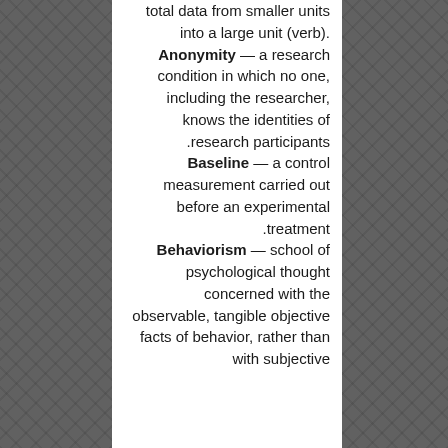total data from smaller units into a large unit (verb). Anonymity — a research condition in which no one, including the researcher, knows the identities of research participants. Baseline — a control measurement carried out before an experimental treatment. Behaviorism — school of psychological thought concerned with the observable, tangible objective facts of behavior, rather than with subjective